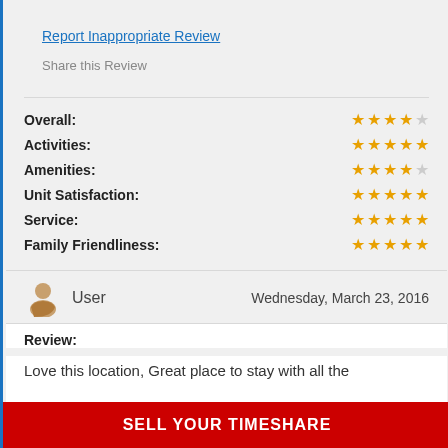Report Inappropriate Review
Share this Review
Overall: ★★★★☆
Activities: ★★★★★
Amenities: ★★★★☆
Unit Satisfaction: ★★★★★
Service: ★★★★★
Family Friendliness: ★★★★★
User  Wednesday, March 23, 2016
Review:
Love this location, Great place to stay with all the amazing amentities! Great place for family time to make
SELL YOUR TIMESHARE